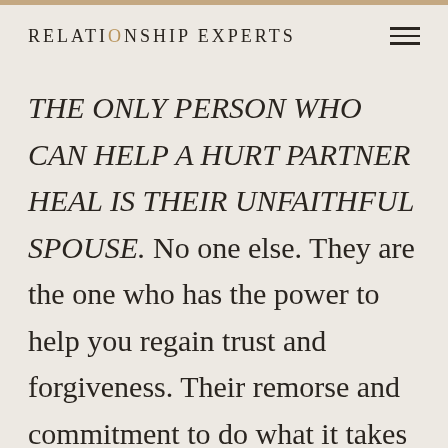RELATIONSHIP EXPERTS
THE ONLY PERSON WHO CAN HELP A HURT PARTNER HEAL IS THEIR UNFAITHFUL SPOUSE. No one else. They are the one who has the power to help you regain trust and forgiveness. Their remorse and commitment to do what it takes to regain a loving and trusting relationship are what you need to forgive and trust them.